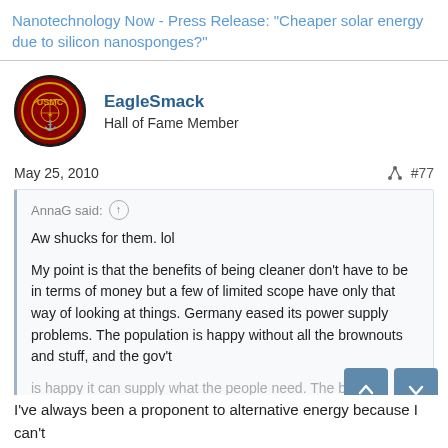Nanotechnology Now - Press Release: "Cheaper solar energy due to silicon nanosponges?"
EagleSmack
Hall of Fame Member
May 25, 2010  #77
AnnaG said:
Aw shucks for them. lol

My point is that the benefits of being cleaner don't have to be in terms of money but a few of limited scope have only that way of looking at things. Germany eased its power supply problems. The population is happy without all the brownouts and stuff, and the gov't is happy it can supply what the people need. The benefits outweigh
Click to expand...
I've always been a proponent to alternative energy because I can't